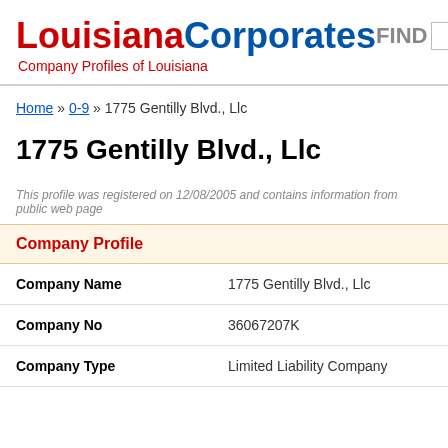LouisianaCorporates — Company Profiles of Louisiana
Home » 0-9 » 1775 Gentilly Blvd., Llc
1775 Gentilly Blvd., Llc
This profile was registered on 12/08/2005 and contains information from public web page
Company Profile
| Field | Value |
| --- | --- |
| Company Name | 1775 Gentilly Blvd., Llc |
| Company No | 36067207K |
| Company Type | Limited Liability Company |